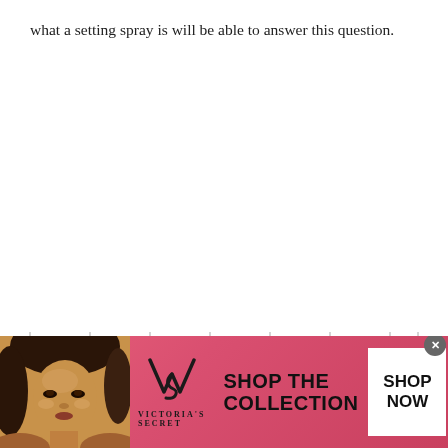what a setting spray is will be able to answer this question.
[Figure (photo): Victoria's Secret advertisement banner with a woman model on the left, VS logo in center, 'SHOP THE COLLECTION' text, and a white 'SHOP NOW' button on the right, on a pink/red gradient background.]